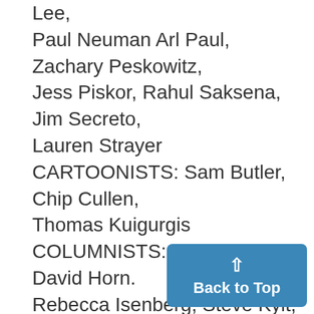Lee, Paul Neuman Arl Paul, Zachary Peskowitz, Jess Piskor, Rahul Saksena, Jim Secreto, Lauren Strayer CARTOONISTS: Sam Butler, Chip Cullen, Thomas Kuigurgis COLUMNISTS: Peter'Cumi'e. David Horn. Rebecca Isenberg, Steve Kyit, Dustin J. Seibert, WaJyed, Amer G. Zahr SPORTS Jon Schwartz, Managing Editor SENIOR EDITORS: Raphael Goodstein, Jeff Phillips, Benjamin Singer, Joe Smith NIGHT EDITORS: Arun Gopal, D... Steve Jackson, Seth Kiempner,
[Figure (other): Back to Top button - a blue rounded rectangle with an upward arrow and the text 'Back to Top']